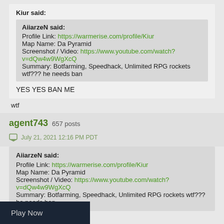Kiur said:
  AiiarzeN said:
  Profile Link: https://warmerise.com/profile/Kiur
  Map Name: Da Pyramid
  Screenshot / Video: https://www.youtube.com/watch?v=dQw4w9WgXcQ
  Summary: Botfarming, Speedhack, Unlimited RPG rockets wtf??? he needs ban
YES YES BAN ME
wtf
agent743  657 posts
July 21, 2021 12:16 PM PDT
AiiarzeN said:
Profile Link: https://warmerise.com/profile/Kiur
Map Name: Da Pyramid
Screenshot / Video: https://www.youtube.com/watch?v=dQw4w9WgXcQ
Summary: Botfarming, Speedhack, Unlimited RPG rockets wtf??? he needs ban
Play Now